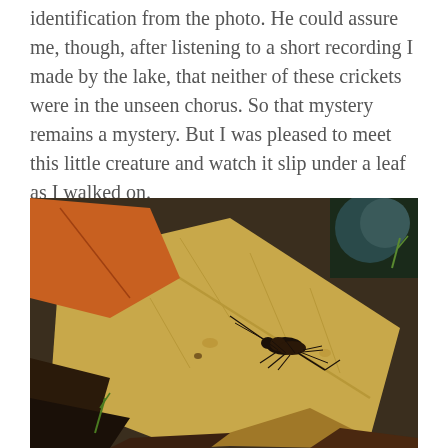identification from the photo. He could assure me, though, after listening to a short recording I made by the lake, that neither of these crickets were in the unseen chorus. So that mystery remains a mystery. But I was pleased to meet this little creature and watch it slip under a leaf as I walked on.
[Figure (photo): Close-up photograph of a small cricket sitting on a large dried tan/beige leaf, surrounded by other fallen leaves and forest floor debris. The cricket is dark brown/black with visible antennae and legs.]